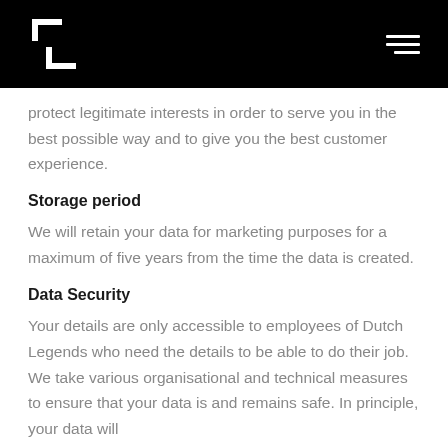[Logo] [Menu icon]
protect legitimate interests in order to serve you in the best possible way and to give you the best customer experience.
Storage period
We will retain your data for marketing purposes for a maximum of five years from the time the data is created.
Data Security
Your details are only accessible to employees of Dutch Legends who need the details to be able to do their job. We take various organisational and technical measures to ensure that your data is and remains safe. In principle, your data will